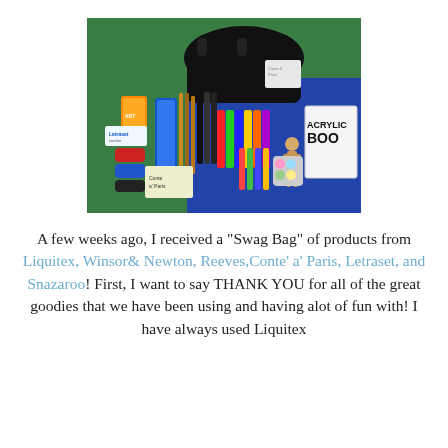[Figure (photo): A flat lay photo of art supply products including markers, pens, brushes, paint tubes, face paint palette, a wooden mannequin figure, and an art book, spread on a green and blue surface with a black tote bag in the background.]
A few weeks ago, I received a "Swag Bag" of products from Liquitex, Winsor& Newton, Reeves,Conte' a' Paris, Letraset, and Snazaroo! First, I want to say THANK YOU for all of the great goodies that we have been using and having alot of fun with! I have always used Liquitex